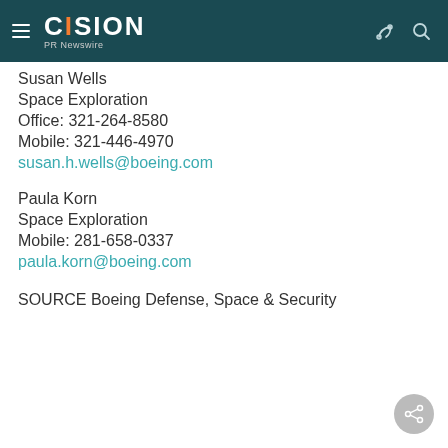CISION PR Newswire
Susan Wells
Space Exploration
Office: 321-264-8580
Mobile: 321-446-4970
susan.h.wells@boeing.com
Paula Korn
Space Exploration
Mobile: 281-658-0337
paula.korn@boeing.com
SOURCE Boeing Defense, Space & Security